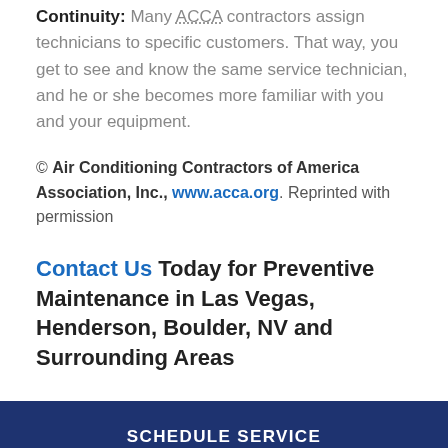Continuity: Many ACCA contractors assign technicians to specific customers. That way, you get to see and know the same service technician, and he or she becomes more familiar with you and your equipment.
© Air Conditioning Contractors of America Association, Inc., www.acca.org. Reprinted with permission
Contact Us Today for Preventive Maintenance in Las Vegas, Henderson, Boulder, NV and Surrounding Areas
SCHEDULE SERVICE
REQUEST QUOTE